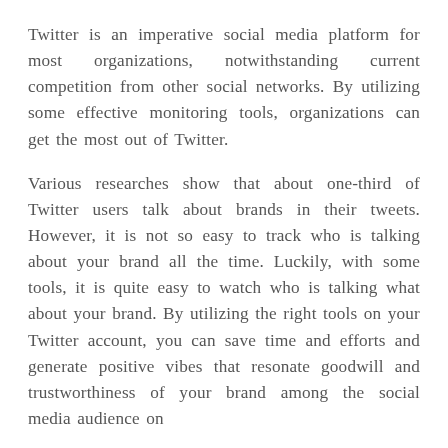Twitter is an imperative social media platform for most organizations, notwithstanding current competition from other social networks. By utilizing some effective monitoring tools, organizations can get the most out of Twitter.
Various researches show that about one-third of Twitter users talk about brands in their tweets. However, it is not so easy to track who is talking about your brand all the time. Luckily, with some tools, it is quite easy to watch who is talking what about your brand. By utilizing the right tools on your Twitter account, you can save time and efforts and generate positive vibes that resonate goodwill and trustworthiness of your brand among the social media audience on